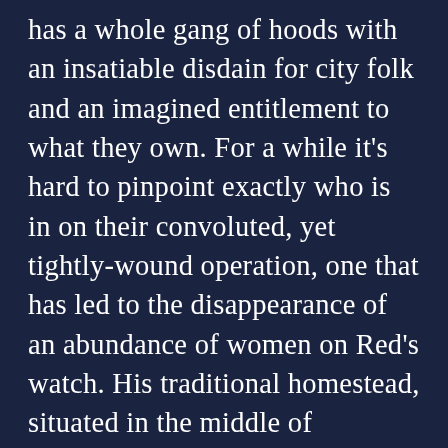has a whole gang of hoods with an insatiable disdain for city folk and an imagined entitlement to what they own. For a while it's hard to pinpoint exactly who is in on their convoluted, yet tightly-wound operation, one that has led to the disappearance of an abundance of women on Red's watch. His traditional homestead, situated in the middle of nowhere, is a veritable mausoleum when you consider those missing faces of years gone by, his padlocked freezer in a padlocked basement a devastating punctuation mark for a movie that relies more on suggestion when dealing with the kidnapped subject and her unseen predecessors.